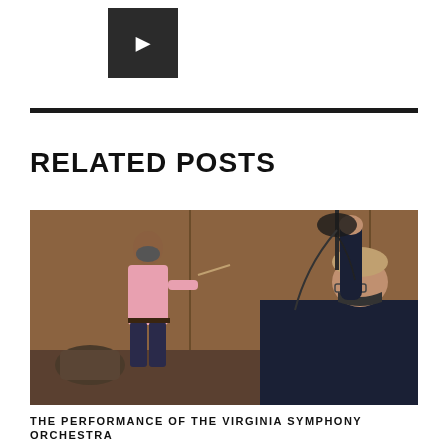[Figure (logo): Dark square logo block with a white letter or symbol in the center]
RELATED POSTS
[Figure (photo): Orchestra rehearsal scene: a conductor wearing a mask holding a baton faces toward the left; a musician in the foreground raises an instrument against a wood-paneled wall background]
THE PERFORMANCE OF THE VIRGINIA SYMPHONY ORCHESTRA